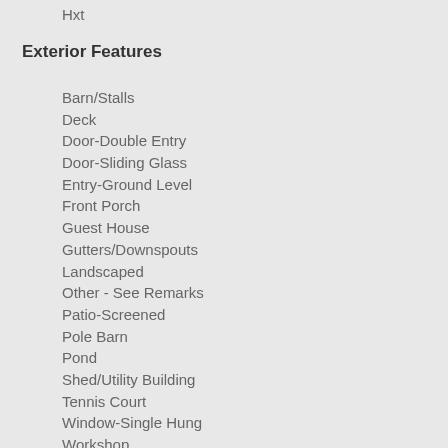Hxt
Exterior Features
Barn/Stalls
Deck
Door-Double Entry
Door-Sliding Glass
Entry-Ground Level
Front Porch
Guest House
Gutters/Downspouts
Landscaped
Other - See Remarks
Patio-Screened
Pole Barn
Pond
Shed/Utility Building
Tennis Court
Window-Single Hung
Workshop